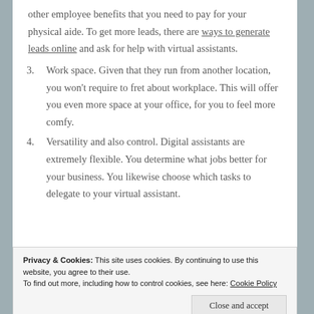other employee benefits that you need to pay for your physical aide. To get more leads, there are ways to generate leads online and ask for help with virtual assistants.
3. Work space. Given that they run from another location, you won't require to fret about workplace. This will offer you even more space at your office, for you to feel more comfy.
4. Versatility and also control. Digital assistants are extremely flexible. You determine what jobs better for your business. You likewise choose which tasks to delegate to your virtual assistant.
Privacy & Cookies: This site uses cookies. By continuing to use this website, you agree to their use. To find out more, including how to control cookies, see here: Cookie Policy
Close and accept